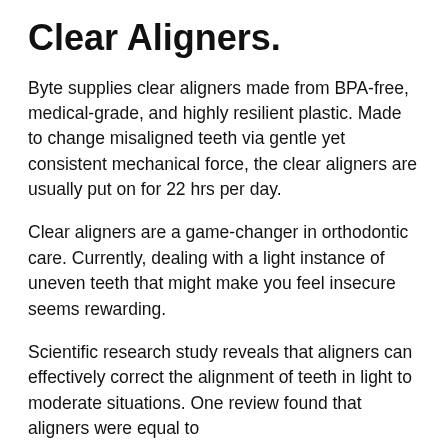Clear Aligners.
Byte supplies clear aligners made from BPA-free, medical-grade, and highly resilient plastic. Made to change misaligned teeth via gentle yet consistent mechanical force, the clear aligners are usually put on for 22 hrs per day.
Clear aligners are a game-changer in orthodontic care. Currently, dealing with a light instance of uneven teeth that might make you feel insecure seems rewarding.
Scientific research study reveals that aligners can effectively correct the alignment of teeth in light to moderate situations. One review found that aligners were equal to